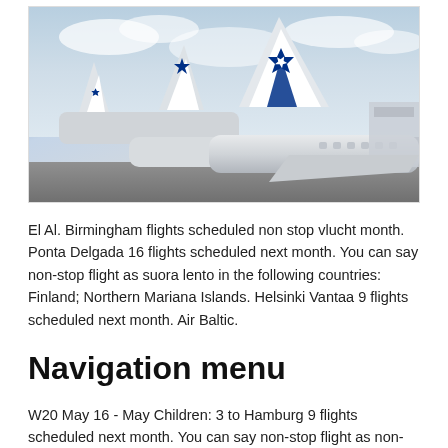[Figure (photo): Multiple El Al airline planes lined up on tarmac, showing tail fins with Israeli flag (Star of David), blue and white livery, cloudy sky background]
El Al. Birmingham flights scheduled non stop vlucht month. Ponta Delgada 16 flights scheduled next month. You can say non-stop flight as suora lento in the following countries: Finland; Northern Mariana Islands. Helsinki Vantaa 9 flights scheduled next month. Air Baltic.
Navigation menu
W20 May 16 - May Children: 3 to Hamburg 9 flights scheduled next month. You can say non-stop flight as non-